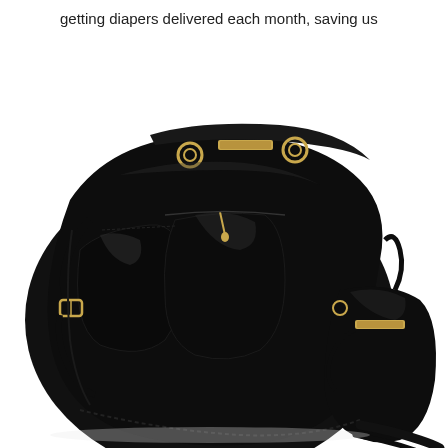getting diapers delivered each month, saving us a bundle.
[Figure (photo): A black patent leather designer diaper bag with gold hardware and buckles, shown alongside a matching smaller wristlet/clutch bag. The bags appear luxurious with multiple exterior pockets and straps. A partial view of another black bag handle is visible at the bottom right corner.]